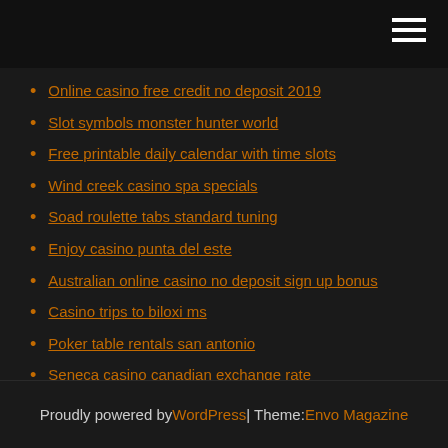Online casino free credit no deposit 2019
Slot symbols monster hunter world
Free printable daily calendar with time slots
Wind creek casino spa specials
Soad roulette tabs standard tuning
Enjoy casino punta del este
Australian online casino no deposit sign up bonus
Casino trips to biloxi ms
Poker table rentals san antonio
Seneca casino canadian exchange rate
Online casino app win real money
Proudly powered by WordPress | Theme: Envo Magazine